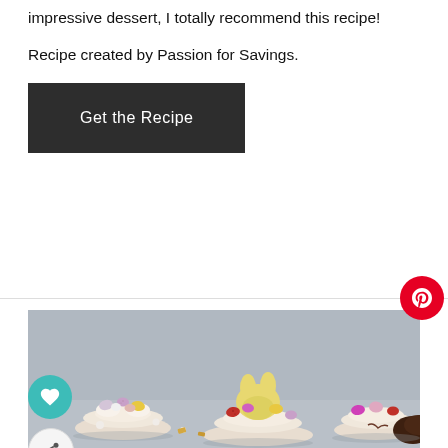impressive dessert, I totally recommend this recipe!
Recipe created by Passion for Savings.
Get the Recipe
[Figure (photo): Close-up photo of decorated mini Easter desserts topped with colorful candy eggs in pink, purple, yellow, red, and white, with whipped cream, on a grey background. Social media sharing buttons visible on the left side.]